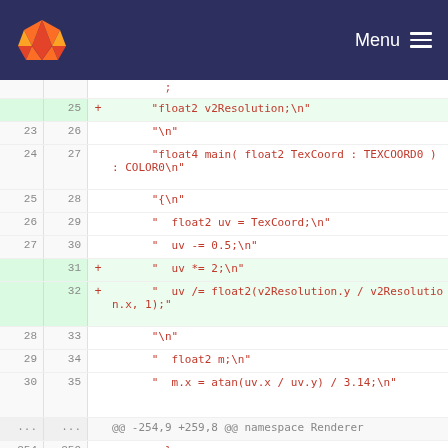GitLab Menu
Code diff view showing changes to shader code. Lines 25-35 showing additions and context, then hunk header @@ -254,9 +259,8 @@ namespace Renderer, then lines 254-257.